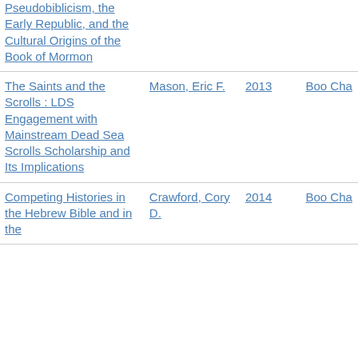| Title | Author | Year | Type |
| --- | --- | --- | --- |
| Pseudobiblicism, the Early Republic, and the Cultural Origins of the Book of Mormon |  |  |  |
| The Saints and the Scrolls : LDS Engagement with Mainstream Dead Sea Scrolls Scholarship and Its Implications | Mason, Eric F. | 2013 | Boo Cha |
| Competing Histories in the Hebrew Bible and in the | Crawford, Cory D. | 2014 | Boo Cha |